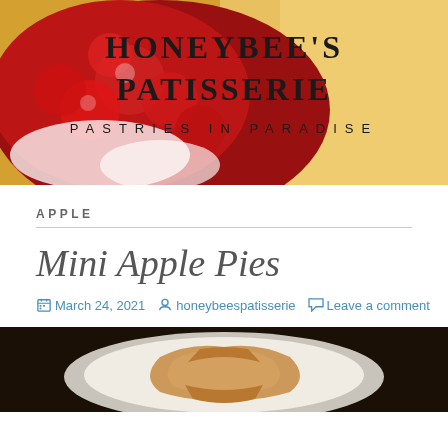[Figure (photo): Header banner showing a cherry or strawberry pastry/pie with red glazed fruit filling, with text overlay reading 'HONEYBEE'S PATISSERIE' and 'PASTRIES IN PARADISE']
APPLE
Mini Apple Pies
March 24, 2021  honeybeespatisserie  Leave a comment
[Figure (photo): Bottom portion of a photo showing mini apple pies on a white plate, dark background]